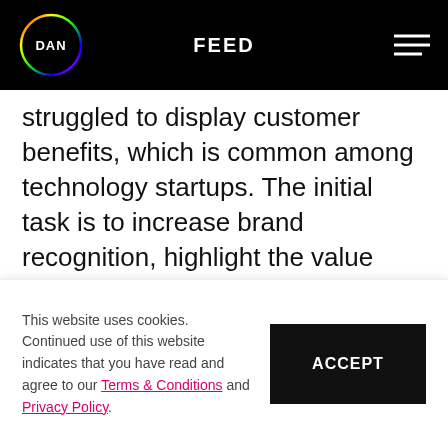FEED
struggled to display customer benefits, which is common among technology startups. The initial task is to increase brand recognition, highlight the value proposition so that sales begin to start gathering momentum.
[Figure (logo): Channable logo on blue background — white geometric trefoil icon and white text 'channable']
This website uses cookies. Continued use of this website indicates that you have read and agree to our Terms & Conditions and Privacy Policy.